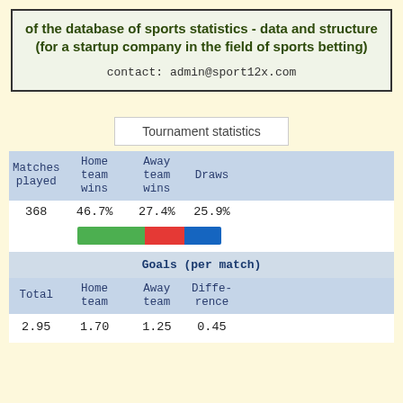of the database of sports statistics - data and structure (for a startup company in the field of sports betting)
contact: admin@sport12x.com
Tournament statistics
| Matches played | Home team wins | Away team wins | Draws |  |  |
| --- | --- | --- | --- | --- | --- |
| 368 | 46.7% | 27.4% | 25.9% |  |  |
|  | [bar chart: green/red/blue] |  |  |  |  |
Goals (per match)
| Total | Home team | Away team | Difference |  |  |
| --- | --- | --- | --- | --- | --- |
| 2.95 | 1.70 | 1.25 | 0.45 |  |  |